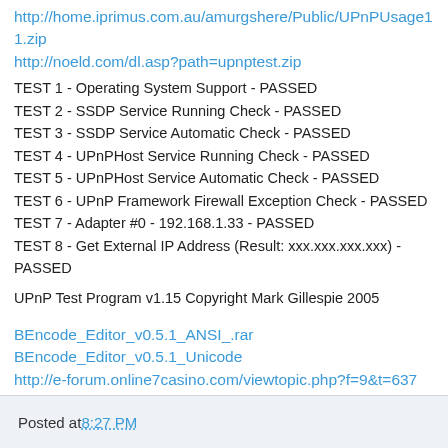http://home.iprimus.com.au/amurgshere/Public/UPnPUsage11.zip
http://noeld.com/dl.asp?path=upnptest.zip
TEST 1 - Operating System Support - PASSED
TEST 2 - SSDP Service Running Check - PASSED
TEST 3 - SSDP Service Automatic Check - PASSED
TEST 4 - UPnPHost Service Running Check - PASSED
TEST 5 - UPnPHost Service Automatic Check - PASSED
TEST 6 - UPnP Framework Firewall Exception Check - PASSED
TEST 7 - Adapter #0 - 192.168.1.33 - PASSED
TEST 8 - Get External IP Address (Result: xxx.xxx.xxx.xxx) - PASSED
UPnP Test Program v1.15 Copyright Mark Gillespie 2005
BEncode_Editor_v0.5.1_ANSI_.rar
BEncode_Editor_v0.5.1_Unicode
http://e-forum.online7casino.com/viewtopic.php?f=9&t=637
Auto-Reconnector.rar
Posted at 8:27 PM